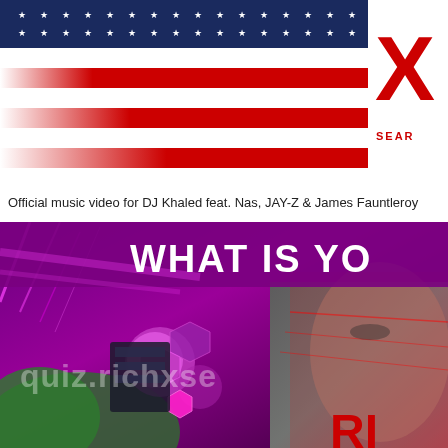[Figure (illustration): Top banner with American flag stripes (white, red, blue with white stars) and a partially visible red X logo with text 'SEAR...' on the right side]
Official music video for DJ Khaled feat. Nas, JAY-Z & James Fauntleroy
[Figure (screenshot): Music video thumbnail showing 'WHAT IS YO...' text in bold white on a purple/magenta background with laser stripes, and a close-up of a person's face with green and red lighting. Watermark text 'quiz.richxse...' overlaid. Bottom right shows partial red 'RI...' text logo.]